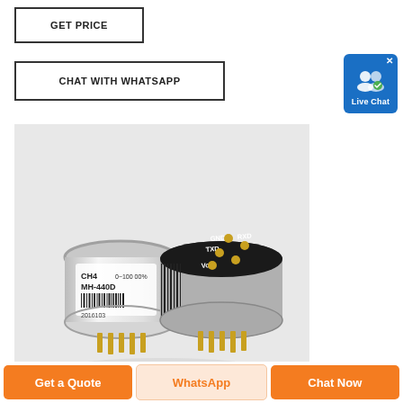GET PRICE
CHAT WITH WHATSAPP
[Figure (photo): Two MH-440D CH4 methane gas sensor modules shown from top and bottom angles. Cylindrical metal components with pins, one showing label 'CH4 MH-440D 0~100 00%' and barcode, the other showing pin connections: GND, TXD, RXD, Vout.]
Get a Quote
WhatsApp
Chat Now